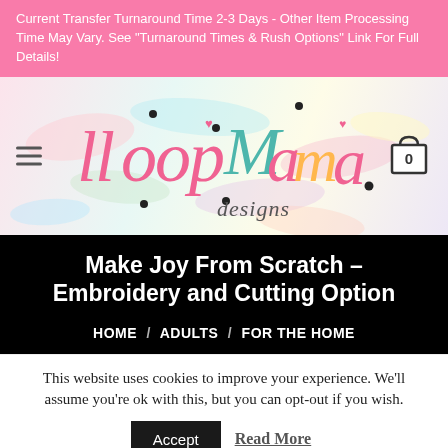Current Transfer Turnaround Time 2-3 Days - Other Item Processing Time May Vary. See "Turnaround Times & Rush Options" Link For Full Details!
[Figure (logo): LloopMama designs logo with colorful script lettering on a pastel watercolor background, with hamburger menu icon on left and shopping cart (0) on right]
Make Joy From Scratch – Embroidery and Cutting Option
HOME / ADULTS / FOR THE HOME
This website uses cookies to improve your experience. We'll assume you're ok with this, but you can opt-out if you wish.
Accept    Read More